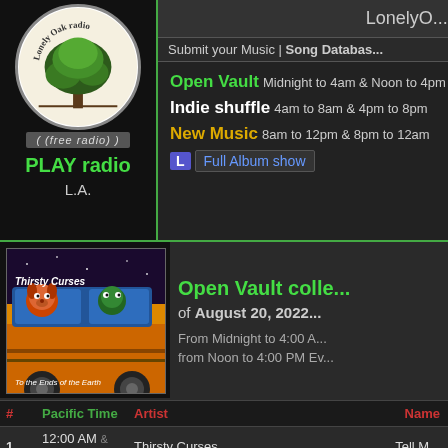[Figure (logo): Lonely Oak Radio circular logo with tree illustration]
( (free radio) )
PLAY radio
L.A.
LonelyO...
Submit your Music | Song Databas...
Open Vault Midnight to 4am & Noon to 4pm
Indie shuffle 4am to 8am & 4pm to 8pm
New Music 8am to 12pm & 8pm to 12am
L Full Album show
[Figure (photo): Album art for Thirsty Curses - To the Ends of the Earth, showing cartoon animals in a van]
Open Vault colle... of August 20, 2022
From Midnight to 4:00 A... from Noon to 4:00 PM Ev...
| # | Pacific Time | Artist | Name |
| --- | --- | --- | --- |
| 1 | 12:00 AM & PM | Thirsty Curses | Tell M... |
| 2 | 12:02 AM & PM | Famyne | Once... |